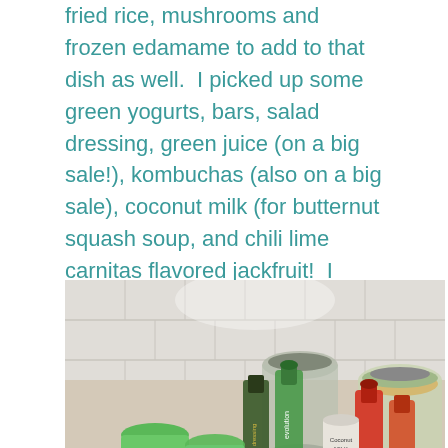fried rice, mushrooms and frozen edamame to add to that dish as well.  I picked up some green yogurts, bars, salad dressing, green juice (on a big sale!), kombuchas (also on a big sale), coconut milk (for butternut squash soup, and chili lime carnitas flavored jackfruit!  I have been wanting to make tacos with this jackfruit for awhile so I will let you guys know how they turn out!
[Figure (photo): Photo of grocery items laid out on a kitchen counter including green yogurt cups, salad dressing, green juice bottle, edamame, coconut milk, kombucha, bars, and chili lime carnitas jackfruit product.]